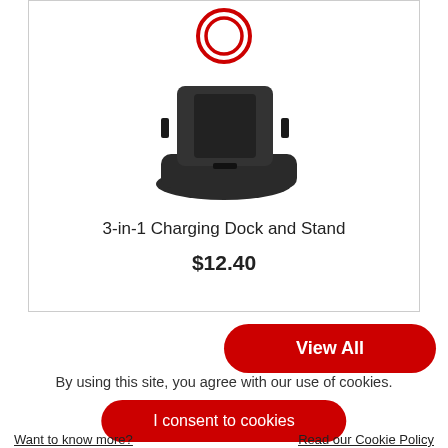[Figure (photo): Black 3-in-1 charging dock and stand product photo on white background]
3-in-1 Charging Dock and Stand
$12.40
View All
By using this site, you agree with our use of cookies.
I consent to cookies
Want to know more?
Read our Cookie Policy